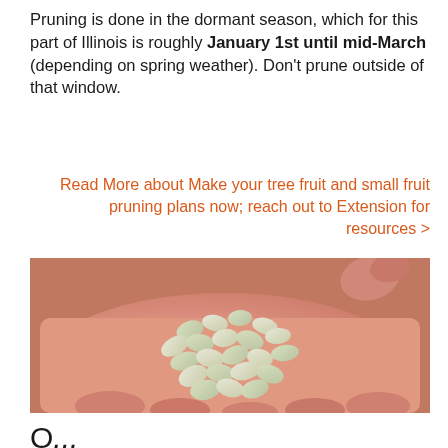Pruning is done in the dormant season, which for this part of Illinois is roughly January 1st until mid-March (depending on spring weather). Don't prune outside of that window.
Read More about Make your tree fruit and small fruit pruning plans now; reach out to Extension for resources >
[Figure (photo): A hand (palm facing up) holding a small pile of light green/cream colored bean seeds.]
O...